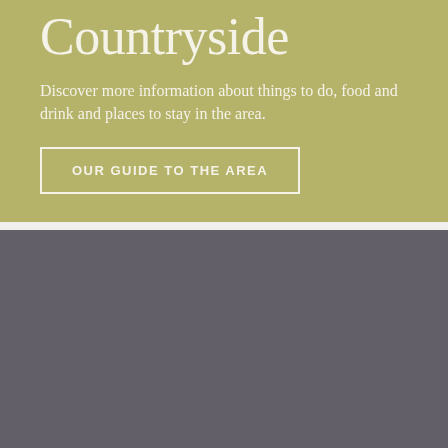Countryside
Discover more information about things to do, food and drink and places to stay in the area.
OUR GUIDE TO THE AREA
[Figure (photo): A grey/purple toned photograph placeholder section at the bottom of the page]